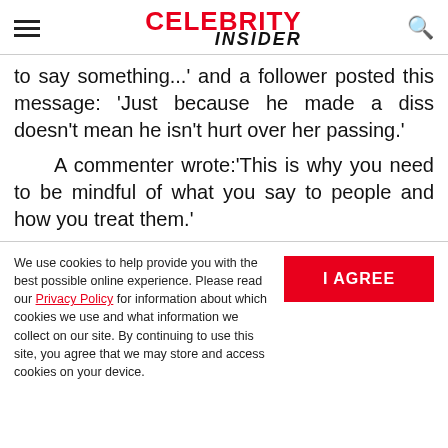CELEBRITY INSIDER
to say something...' and a follower posted this message: 'Just because he made a diss doesn't mean he isn't hurt over her passing.'
A commenter wrote:'This is why you need to be mindful of what you say to people and how you treat them.'
We use cookies to help provide you with the best possible online experience. Please read our Privacy Policy for information about which cookies we use and what information we collect on our site. By continuing to use this site, you agree that we may store and access cookies on your device.